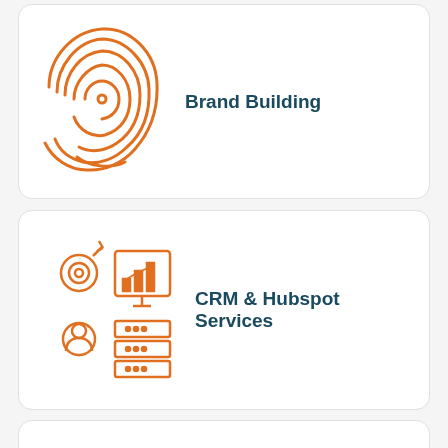[Figure (illustration): Orange fingerprint icon representing Brand Building]
Brand Building
[Figure (illustration): Orange CRM/analytics icon with person, chart, and database representing CRM & Hubspot Services]
CRM & Hubspot Services
[Figure (illustration): Orange gear/building/network icon representing Digital Transformation]
Digital Transformation